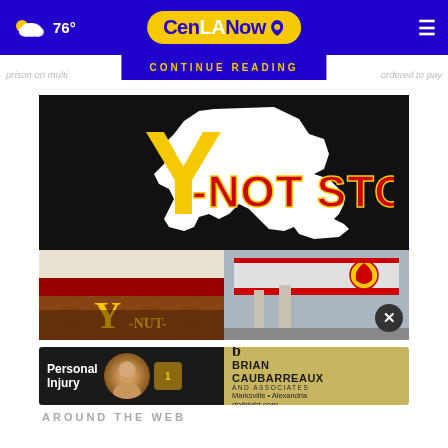76° CenLANow
CONTINUE READING
prison on multi... ordered to pay
[Figure (logo): Y-Not Stop convenience store logo — large yellow Y letter with Louisiana state outline in white, red bold text 'Y-NOT STOP', black background. Below are two store photos: left shows a Y-Not Stop brick storefront with yellow Y signage; right shows a Shell gas station canopy with red and yellow accents.]
[Figure (photo): Advertisement banner for Brian Caubarreaux and Associates personal injury law firm. Dark left side with 'Personal Injury' text and attorney photo. Gold right side with 'BRIAN CAUBARREAUX AND ASSOCIATES', 'Marksville • Alexandria', 'doitright.com']
AROUND THE WEB